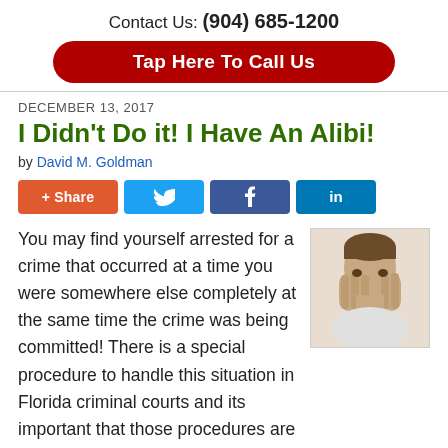Contact Us: (904) 685-1200
Tap Here To Call Us
DECEMBER 13, 2017
I Didn't Do it! I Have An Alibi!
by David M. Goldman
[Figure (infographic): Social share buttons: +Share, Twitter, Facebook, LinkedIn]
You may find yourself arrested for a crime that occurred at a time you were somewhere else completely at the same time the crime was being committed!  There is a special procedure to handle this situation in Florida criminal courts and its important that those procedures are followed or it could result in your evidence not being used at trial.
[Figure (photo): Person covering face with hands, appearing distressed]